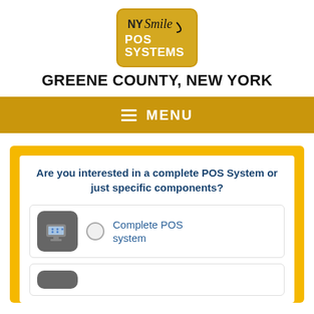[Figure (logo): NY Smile POS Systems logo — gold card-shaped badge with NY Smile text and POS SYSTEMS in white bold text]
GREENE COUNTY, NEW YORK
MENU
Are you interested in a complete POS System or just specific components?
Complete POS system
(second option, partially visible)